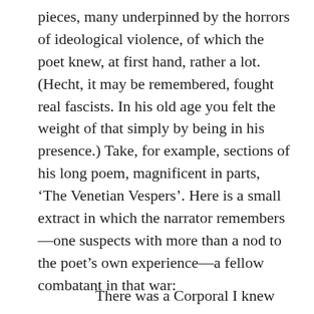pieces, many underpinned by the horrors of ideological violence, of which the poet knew, at first hand, rather a lot. (Hecht, it may be remembered, fought real fascists. In his old age you felt the weight of that simply by being in his presence.) Take, for example, sections of his long poem, magnificent in parts, ‘The Venetian Vespers’. Here is a small extract in which the narrator remembers—one suspects with more than a nod to the poet’s own experience—a fellow combatant in that war:
There was a Corporal I knew